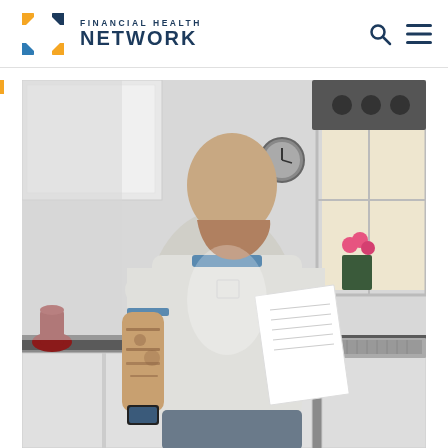[Figure (logo): Financial Health Network logo with compass/star icon in blue and orange, text reads FINANCIAL HEALTH NETWORK]
[Figure (photo): A bald man with beard and tattoos wearing a grey t-shirt stands in a modern kitchen, holding a smartphone in one hand and reading a paper document in the other. Kitchen counter, white mug, window with daylight visible in background.]